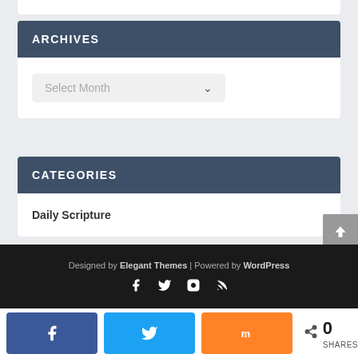ARCHIVES
Select Month
CATEGORIES
Daily Scripture
Designed by Elegant Themes | Powered by WordPress
0 SHARES